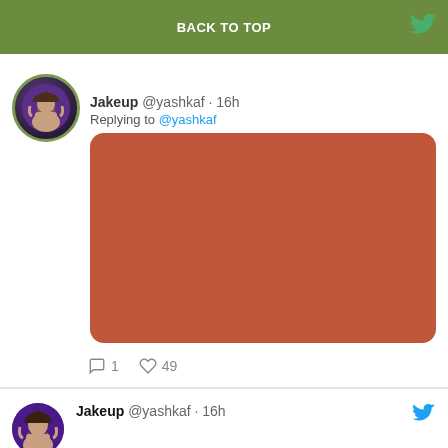BACK TO TOP
Jakeup @yashkaf · 16h
Replying to @yashkaf
[Figure (illustration): Solid terracotta/rust colored rectangle with rounded corners, serving as a placeholder image in a tweet]
1   49
Jakeup @yashkaf · 16h
Replying to @yashkaf
[Figure (illustration): Solid dark brown/olive colored rectangle with rounded corners, serving as a placeholder image in a tweet]